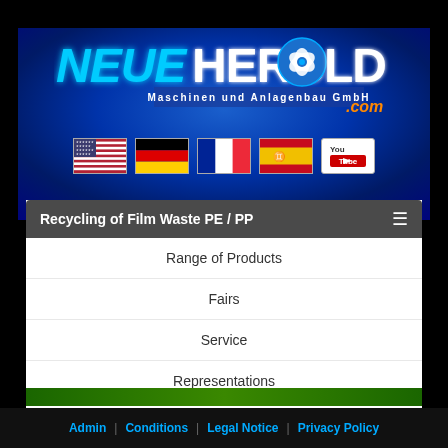[Figure (logo): Neue Herbold Maschinen und Anlagenbau GmbH logo with glowing blue neon text on dark blue background, with .com in orange]
[Figure (infographic): Row of country flags: USA, Germany, France, Spain, and YouTube button]
Recycling of Film Waste PE / PP
Range of Products
Fairs
Service
Representations
Contacts / Inquiries
Admin | Conditions | Legal Notice | Privacy Policy